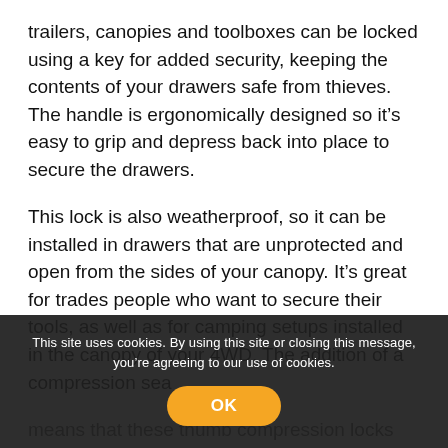trailers, canopies and toolboxes can be locked using a key for added security, keeping the contents of your drawers safe from thieves. The handle is ergonomically designed so it's easy to grip and depress back into place to secure the drawers.
This lock is also weatherproof, so it can be installed in drawers that are unprotected and open from the sides of your canopy. It's great for trades people who want to secure their tools, as well as for camping setups installed in the canopy of your 4WD. The addition of a compression sea means that these thumb compression locks will keep sand, dirt and moisture from entering your drawers.
Black finish
This site uses cookies. By using this site or closing this message, you're agreeing to our use of cookies.